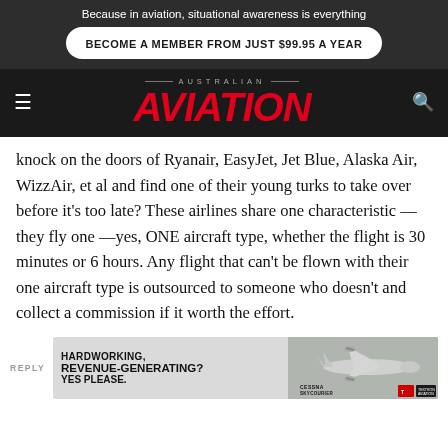Because in aviation, situational awareness is everything
BECOME A MEMBER FROM JUST $99.95 A YEAR
AUSTRALIAN AVIATION
knock on the doors of Ryanair, EasyJet, Jet Blue, Alaska Air, WizzAir, et al and find one of their young turks to take over before it's too late? These airlines share one characteristic — they fly one —yes, ONE aircraft type, whether the flight is 30 minutes or 6 hours. Any flight that can't be flown with their one aircraft type is outsourced to someone who doesn't and collect a commission if it worth the effort.
REPLY
[Figure (infographic): Advertisement banner: HARDWORKING, REVENUE-GENERATING? YES PLEASE. Cessna SkyCourier aircraft image with Cessna SkyCourier and Textron Aviation logos.]